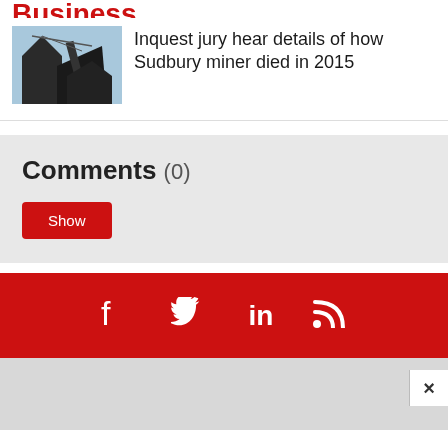Business
[Figure (photo): Thumbnail photo showing mining equipment]
Inquest jury hear details of how Sudbury miner died in 2015
Comments (0)
Show
[Figure (infographic): Red social media bar with Facebook, Twitter, LinkedIn, and RSS icons]
×